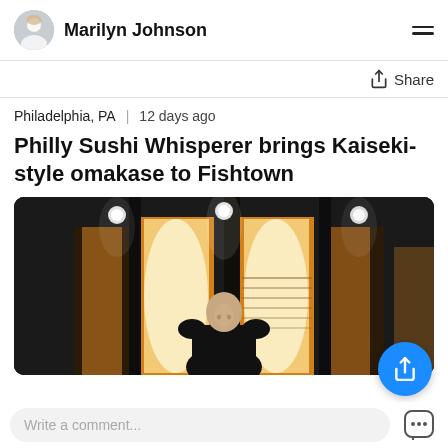Marilyn Johnson
Share
Philadelphia, PA   12 days ago
Philly Sushi Whisperer brings Kaiseki-style omakase to Fishtown
[Figure (photo): A person standing in a dimly lit restaurant interior with warm glowing panels and ceiling spotlights behind them.]
Write a comment...